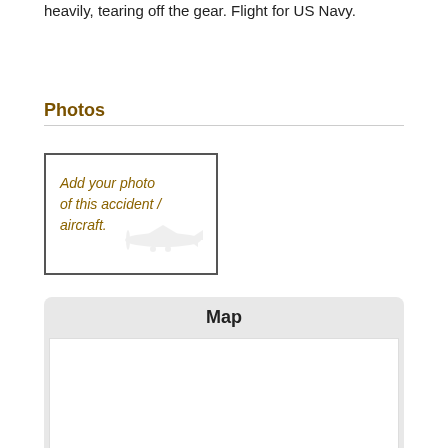heavily, tearing off the gear. Flight for US Navy.
Photos
[Figure (photo): Placeholder image with airplane silhouette and text: Add your photo of this accident / aircraft.]
Map
[Figure (map): Empty map area placeholder.]